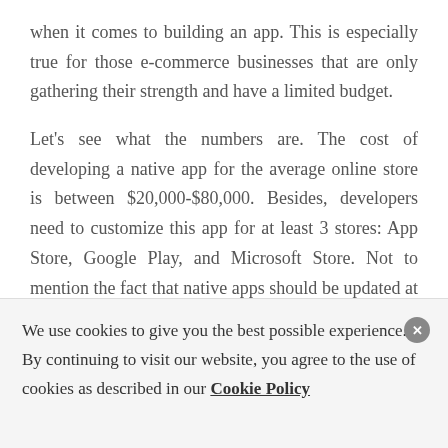when it comes to building an app. This is especially true for those e-commerce businesses that are only gathering their strength and have a limited budget.
Let's see what the numbers are. The cost of developing a native app for the average online store is between $20,000-$80,000. Besides, developers need to customize this app for at least 3 stores: App Store, Google Play, and Microsoft Store. Not to mention the fact that native apps should be updated at least once a year in order to meet new requirements.
We use cookies to give you the best possible experience. By continuing to visit our website, you agree to the use of cookies as described in our Cookie Policy